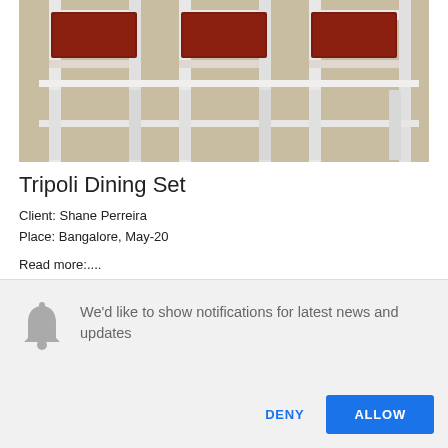[Figure (photo): Photo of dining chairs with white frames and brown/red seats, top portion visible — Tripoli Dining Set product photo]
Tripoli Dining Set
Client: Shane Perreira
Place: Bangalore, May-20
Read more:....
[Figure (photo): Photo of a dark wood sideboard/console table with decorative figurines (a bird and an antelope) on top, placed against a light wall, partially cropped]
We'd like to show notifications for latest news and updates
DENY
ALLOW